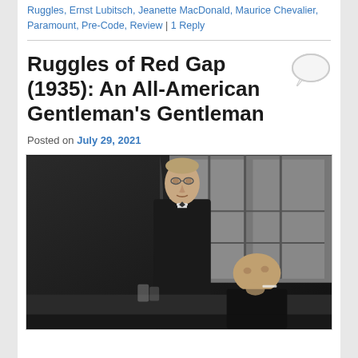Ruggles, Ernst Lubitsch, Jeanette MacDonald, Maurice Chevalier, Paramount, Pre-Code, Review | 1 Reply
Ruggles of Red Gap (1935): An All-American Gentleman's Gentleman
Posted on July 29, 2021
[Figure (photo): Black and white still from Ruggles of Red Gap (1935) showing two men, one standing tall in formal attire and one seated in foreground, in what appears to be an indoor restaurant or club setting with large windows behind them.]